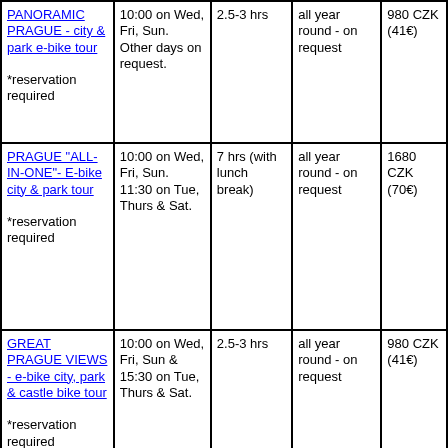| PANORAMIC PRAGUE - city & park e-bike tour *reservation required | 10:00 on Wed, Fri, Sun. Other days on request. | 2.5-3 hrs | all year round - on request | 980 CZK (41€) |
| PRAGUE "ALL-IN-ONE"- E-bike city & park tour *reservation required | 10:00 on Wed, Fri, Sun. 11:30 on Tue, Thurs & Sat. | 7 hrs (with lunch break) | all year round - on request | 1680 CZK (70€) |
| GREAT PRAGUE VIEWS - e-bike city, park & castle bike tour *reservation required | 10:00 on Wed, Fri, Sun & 15:30 on Tue, Thurs & Sat. | 2.5-3 hrs | all year round - on request | 980 CZK (41€) |
| GREAT |  |  |  |  |